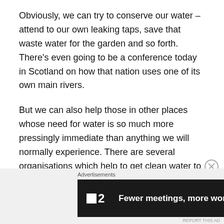Obviously, we can try to conserve our water – attend to our own leaking taps, save that waste water for the garden and so forth. There's even going to be a conference today in Scotland on how that nation uses one of its own main rivers.
But we can also help those in other places whose need for water is so much more pressingly immediate than anything we will normally experience. There are several organisations which help to get clean water to those who really, really need it.
One of these is Water Aid, and you can offer your support
[Figure (other): Advertisement banner with close button. Label: Advertisements. Black banner showing F2 logo and tagline 'Fewer meetings, more work.']